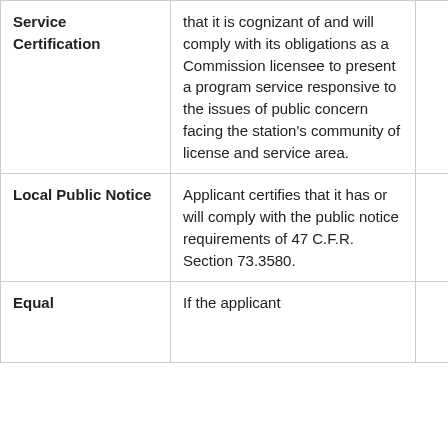| Service Certification | that it is cognizant of and will comply with its obligations as a Commission licensee to present a program service responsive to the issues of public concern facing the station's community of license and service area. |  |
| Local Public Notice | Applicant certifies that it has or will comply with the public notice requirements of 47 C.F.R. Section 73.3580. |  |
| Equal | If the applicant |  |